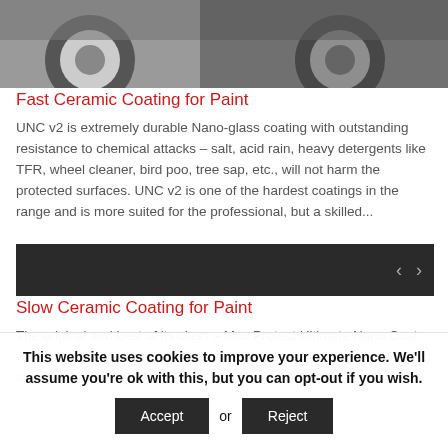[Figure (photo): Partial view of car wheels and lower body panel, photographic image cropped at top of page]
Fast Ceramic Coating for Paint
UNC v2 is extremely durable Nano-glass coating with outstanding resistance to chemical attacks – salt, acid rain, heavy detergents like TFR, wheel cleaner, bird poo, tree sap, etc., will not harm the protected surfaces. UNC v2 is one of the hardest coatings in the range and is more suited for the professional, but a skilled...
[Figure (photo): Dark/black photographic image, partially visible, showing a product or vehicle surface]
Slow Ceramic Coating for Paint
The original and best of its class – Max Protect Ultimate Nano Coat v1. UNC v1 is a permanent Nano-Glass coating and will bond to most surfaces of the vehicle. Paintwork, plastic trim, rubber,
This website uses cookies to improve your experience. We'll assume you're ok with this, but you can opt-out if you wish.